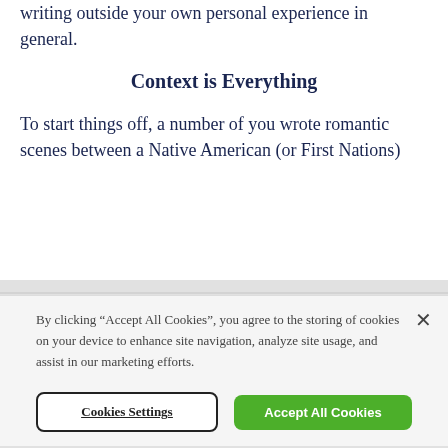writing outside your own personal experience in general.
Context is Everything
To start things off, a number of you wrote romantic scenes between a Native American (or First Nations)
By clicking “Accept All Cookies”, you agree to the storing of cookies on your device to enhance site navigation, analyze site usage, and assist in our marketing efforts.
Cookies Settings
Accept All Cookies